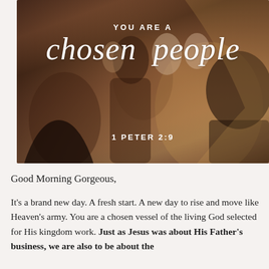[Figure (photo): Photo of a crowd of people with warm backlit tones. Overlaid white text reads 'YOU ARE A chosen people' and '1 PETER 2:9' at the bottom.]
Good Morning Gorgeous,
It's a brand new day. A fresh start. A new day to rise and move like Heaven's army. You are a chosen vessel of the living God selected for His kingdom work. Just as Jesus was about His Father's business, we are also to be about the